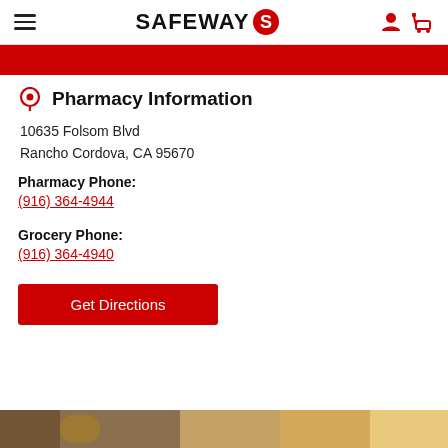SAFEWAY
Pharmacy Information
10635 Folsom Blvd
Rancho Cordova, CA 95670
Pharmacy Phone:
(916) 364-4944
Grocery Phone:
(916) 364-4940
Get Directions
[Figure (photo): Bottom photo strip showing people, partially visible at bottom of page]